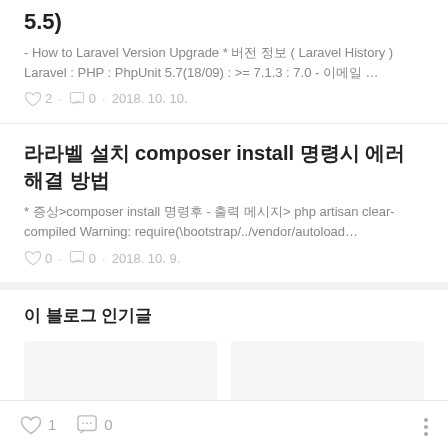5.5)
- How to Laravel Version Upgrade * 버전 정보 ( Laravel History ) Laravel : PHP : PhpUnit 5.7(18/09) : >= 7.1.3 : 7.0 - 이메일 …
♡ 2 · 🗨 0 · 2018. 10. 10.
라라벨 설치 composer install 명령시 에러 해결 방법
* 증상>composer install 명령후 - 출력 메시지> php artisan clear-compiled Warning: require(\bootstrap/../vendor/autoload…
♡ 0 · 🗨 0 · 2018. 10. 9.
이 블로그 인기글
♡ 1   🗨 0